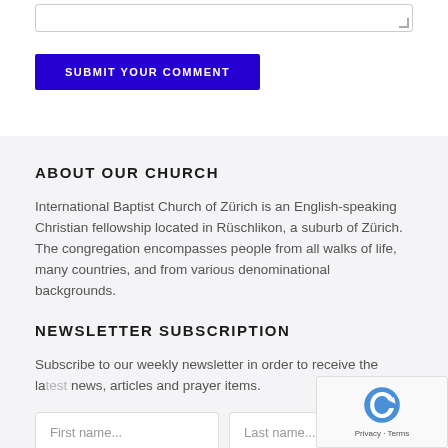[Figure (other): Textarea input box with resize handle at bottom right]
SUBMIT YOUR COMMENT
ABOUT OUR CHURCH
International Baptist Church of Zürich is an English-speaking Christian fellowship located in Rüschlikon, a suburb of Zürich. The congregation encompasses people from all walks of life, many countries, and from various denominational backgrounds.
NEWSLETTER SUBSCRIPTION
Subscribe to our weekly newsletter in order to receive the latest news, articles and prayer items.
First name...
Last name...